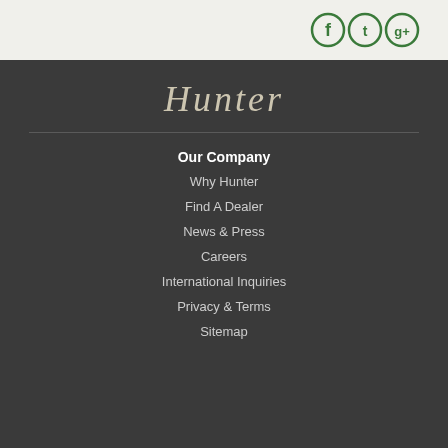[Figure (logo): Social media icons (Facebook, Twitter, Google+) in green circle outlines on light background]
[Figure (logo): Hunter brand logo in script/italic font on dark gray background]
Our Company
Why Hunter
Find A Dealer
News & Press
Careers
International Inquiries
Privacy & Terms
Sitemap